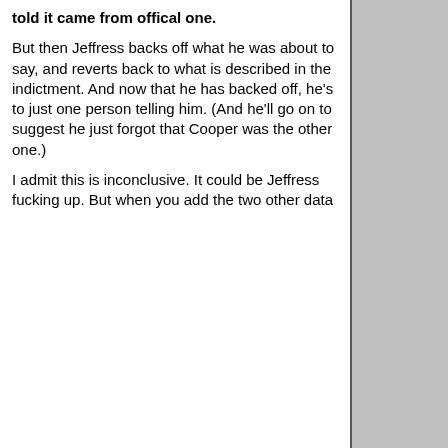told it came from offical one.
But then Jeffress backs off what he was about to say, and reverts back to what is described in the indictment. And now that he has backed off, he's to just one person telling him. (And he'll go on to suggest he just forgot that Cooper was the other one.)
I admit this is inconclusive. It could be Jeffress fucking up. But when you add the two other data